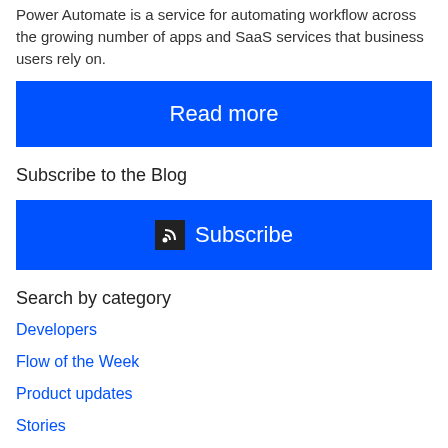Power Automate is a service for automating workflow across the growing number of apps and SaaS services that business users rely on.
[Figure (other): Blue 'Read more' button]
Subscribe to the Blog
[Figure (other): Blue 'Subscribe' button with RSS icon]
Search by category
Developers
Flow of the Week
Product updates
Stories